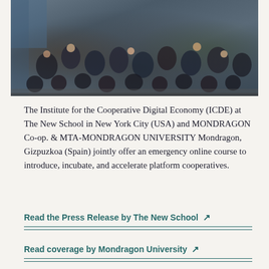[Figure (photo): Large group photo of diverse people, many wearing matching dark t-shirts, gathered together outdoors on what appears to be a concrete surface. The group is large, with people standing and sitting, some raising their arms.]
The Institute for the Cooperative Digital Economy (ICDE) at The New School in New York City (USA) and MONDRAGON Co-op. & MTA-MONDRAGON UNIVERSITY Mondragon, Gizpuzkoa (Spain) jointly offer an emergency online course to introduce, incubate, and accelerate platform cooperatives.
Read the Press Release by The New School ↗
Read coverage by Mondragon University ↗